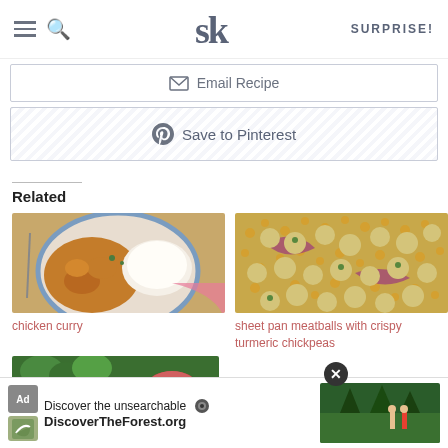SK — SURPRISE!
Email Recipe
Save to Pinterest
Related
[Figure (photo): Photo of chicken curry dish with rice on a blue plate]
chicken curry
[Figure (photo): Photo of sheet pan meatballs with crispy turmeric chickpeas]
sheet pan meatballs with crispy turmeric chickpeas
[Figure (photo): Partial photo of a dish with greens and vegetables]
[Figure (photo): Ad image showing people in a forest]
Discover the unsearchable
DiscoverTheForest.org